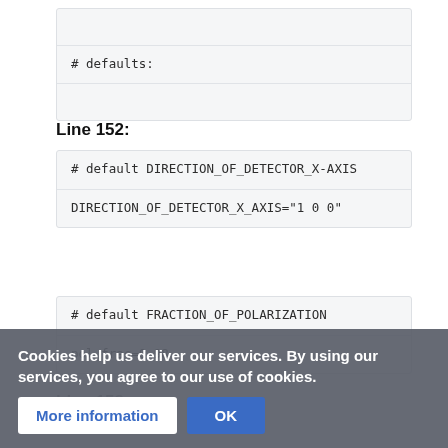# defaults:
Line 152:
# default DIRECTION_OF_DETECTOR_X-AXIS
DIRECTION_OF_DETECTOR_X_AXIS="1 0 0"
# default FRACTION_OF_POLARIZATION
pol_frac=0.98
Line 158:
SERMIN=7.0
CLUSTER_RA...
Cookies help us deliver our services. By using our services, you agree to our use of cookies.